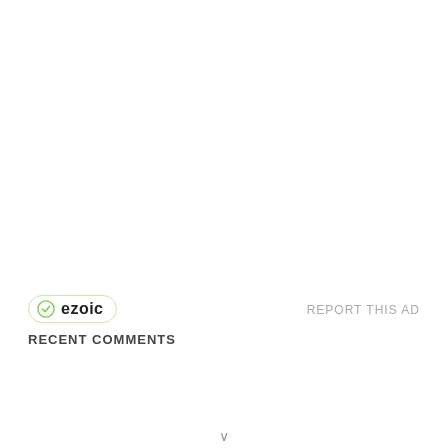[Figure (logo): Ezoic badge logo with green checkmark circle icon and bold text 'ezoic' inside a rounded rectangle border]
REPORT THIS AD
RECENT COMMENTS